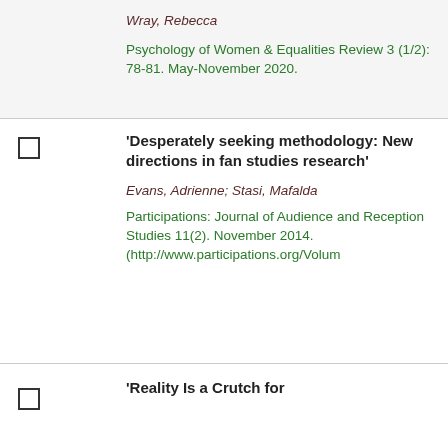Wray, Rebecca
Psychology of Women & Equalities Review 3 (1/2): 78-81. May-November 2020.
'Desperately seeking methodology: New directions in fan studies research'
Evans, Adrienne; Stasi, Mafalda
Participations: Journal of Audience and Reception Studies 11(2). November 2014. (http://www.participations.org/Volum
'Reality Is a Crutch for